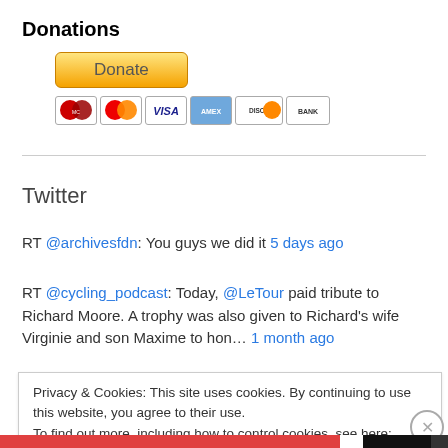Donations
[Figure (screenshot): PayPal Donate button (gold/yellow gradient) with payment icons below: MasterCard, MasterCard, VISA, American Express, Discover, BANK]
RT @archivesfdn: You guys we did it 5 days ago
Twitter
RT @cycling_podcast: Today, @LeTour paid tribute to Richard Moore. A trophy was also given to Richard's wife Virginie and son Maxime to hon… 1 month ago
Privacy & Cookies: This site uses cookies. By continuing to use this website, you agree to their use.
To find out more, including how to control cookies, see here: Cookie Policy
Close and accept